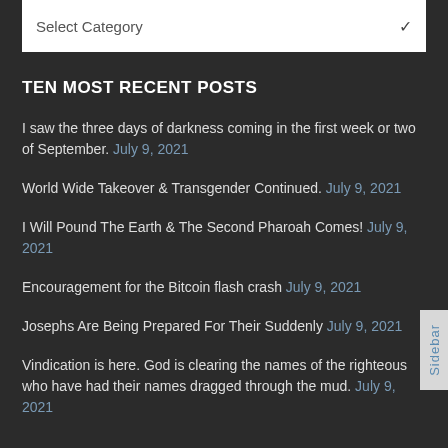[Figure (screenshot): Select Category dropdown box]
TEN MOST RECENT POSTS
I saw the three days of darkness coming in the first week or two of September. July 9, 2021
World Wide Takeover & Transgender Continued. July 9, 2021
I Will Pound The Earth & The Second Pharoah Comes! July 9, 2021
Encouragement for the Bitcoin flash crash July 9, 2021
Josephs Are Being Prepared For Their Suddenly July 9, 2021
Vindication is here. God is clearing the names of the righteous who have had their names dragged through the mud. July 9, 2021